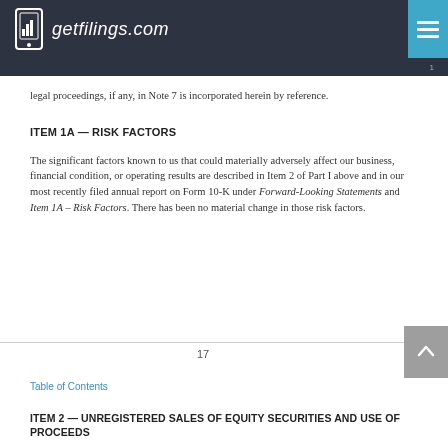getfilings.com
legal proceedings, if any, in Note 7 is incorporated herein by reference.
ITEM 1A — RISK FACTORS
The significant factors known to us that could materially adversely affect our business, financial condition, or operating results are described in Item 2 of Part I above and in our most recently filed annual report on Form 10-K under Forward-Looking Statements and Item 1A – Risk Factors. There has been no material change in those risk factors.
17
Table of Contents
ITEM 2 — UNREGISTERED SALES OF EQUITY SECURITIES AND USE OF PROCEEDS